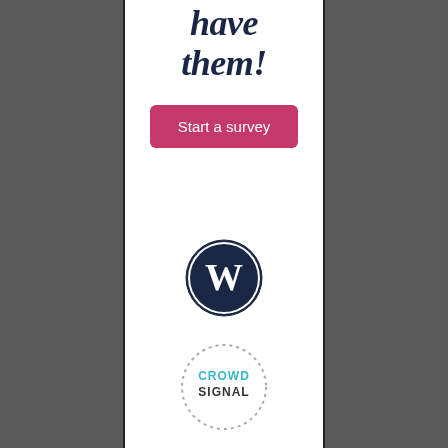have them!
[Figure (other): Start a survey button — pink/magenta rounded rectangle with white text]
[Figure (logo): WordPress logo — black circle with W letter mark]
[Figure (logo): Crowdsignal logo — dotted circle border with CROWD SIGNAL text in teal and dark colors]